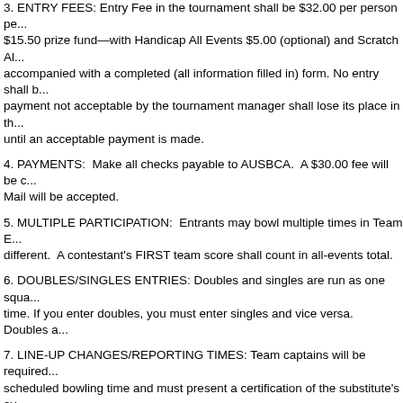3. ENTRY FEES: Entry Fee in the tournament shall be $32.00 per person per event—$15.50 prize fund—with Handicap All Events $5.00 (optional) and Scratch All Events $5.00 (optional) accompanied with a completed (all information filled in) form. No entry shall be accepted. Any payment not acceptable by the tournament manager shall lose its place in the bowling schedule until an acceptable payment is made.
4. PAYMENTS: Make all checks payable to AUSBCA. A $30.00 fee will be charged. No Cash by Mail will be accepted.
5. MULTIPLE PARTICIPATION: Entrants may bowl multiple times in Team Events if the teams are different. A contestant's FIRST team score shall count in all-events total.
6. DOUBLES/SINGLES ENTRIES: Doubles and singles are run as one squad at the same time. If you enter doubles, you must enter singles and vice versa. Doubles and singles are bowled at the same time.
7. LINE-UP CHANGES/REPORTING TIMES: Team captains will be required to report prior to scheduled bowling time and must present a certification of the substitute's average. Changes other than substitution. The substitute will bowl in the line-up position of the bowler replaced; the line-up team captains must report at least thirty (30) minutes prior to scheduled time. Prize fund payments is to pay the person who bowled the event without regard to how the entry was paid. bowlers concerning the actual bowling and payment of entry fees are beyond our control.
8. AVERAGES: Bowlers will use their highest certified league average consisting of the 2020-21 winter or summer season.
a. A bowler having a current season average for twenty-one (21) or more games that is ten (10) pins or more higher than the previous season's average must use the current season average.
b. A bowler without an average during the 2020-21 season may use the highest average for twenty-one (21) or more games bowled in a sanctioned league prior to January 1. Written evidence required.
c. A bowler who does not qualify under the above conditions must enter with a 220 average.
d. It is each bowler's individual responsibility to ensure compliance with USBC and local rules.